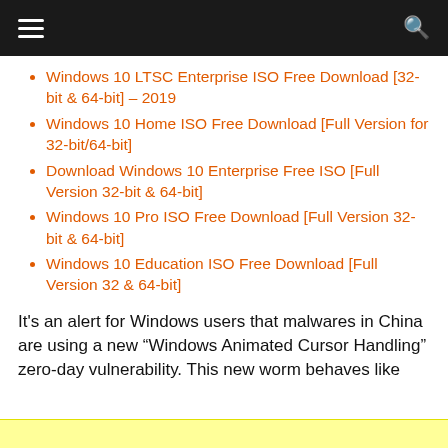≡  🔍
Windows 10 LTSC Enterprise ISO Free Download [32-bit & 64-bit] – 2019
Windows 10 Home ISO Free Download [Full Version for 32-bit/64-bit]
Download Windows 10 Enterprise Free ISO [Full Version 32-bit & 64-bit]
Windows 10 Pro ISO Free Download [Full Version 32-bit & 64-bit]
Windows 10 Education ISO Free Download [Full Version 32 & 64-bit]
It's an alert for Windows users that malwares in China are using a new “Windows Animated Cursor Handling” zero-day vulnerability. This new worm behaves like